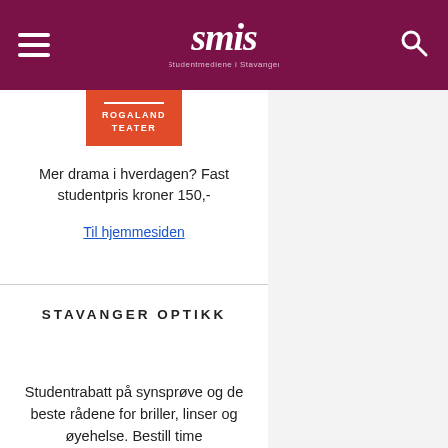SMIS - Studentmediene i Stavanger
[Figure (logo): Rogaland Teater red logo with two horizontal lines and bold text ROGALAND TEATER]
Mer drama i hverdagen? Fast studentpris kroner 150,-
Til hjemmesiden
STAVANGER OPTIKK
Studentrabatt på synsprøve og de beste rådene for briller, linser og øyehelse. Bestill time
Til hjemmesiden